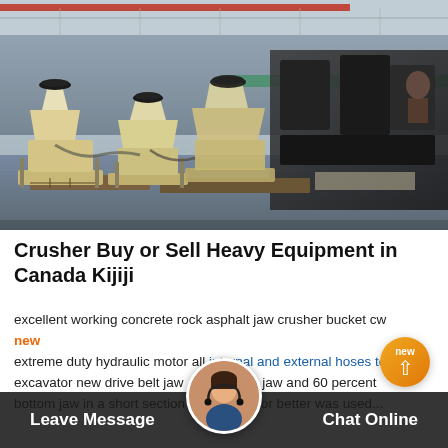[Figure (photo): Industrial warehouse interior showing multiple cream/beige colored cone crusher machines on the floor, with dark heavy machinery in the background right side. Ceiling with red crane beam visible at top.]
Crusher Buy or Sell Heavy Equipment in Canada Kijiji
excellent working concrete rock asphalt jaw crusher bucket cw new extreme duty hydraulic motor all internal and external hoses to excavator new drive belt jaw rcent top jaw and 60 percent bottom jaw in a short section r0 percent or better was used...
Leave Message   Chat Online